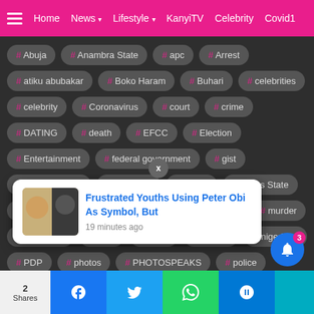≡ Home  News ▾  Lifestyle ▾  KanyiTV  Celebrity  Covid19
# Abuja
# Anambra State
# apc
# Arrest
# atiku abubakar
# Boko Haram
# Buhari
# celebrities
# celebrity
# Coronavirus
# court
# crime
# DATING
# death
# EFCC
# Election
# Entertainment
# federal government
# gist
# HOLLYWOOD
# Imo state
# issues
# Lagos State
# marriage
# METRO
# muhammadu buhari
# murder
# musicians
# naija
# News
# Nigeria
# nigerians
# PDP
# photos
# PHOTOSPEAKS
# police
# Politics
# Presidency
# Relationship
# Video
Frustrated Youths Using Peter Obi As Symbol, But
19 minutes ago
2 Shares  Facebook  Twitter  WhatsApp  Messenger  Notification 3